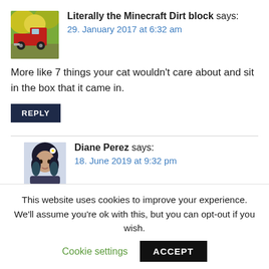[Figure (photo): Avatar image of a red classic truck with yellow foliage background]
Literally the Minecraft Dirt block says:
29. January 2017 at 6:32 am
More like 7 things your cat wouldn't care about and sit in the box that it came in.
REPLY
[Figure (photo): Avatar image of a young woman with blue/dark hair and flowers]
Diane Perez says:
18. June 2019 at 9:32 pm
Literally the Minecraft Dirt block lol so true my cat
This website uses cookies to improve your experience. We'll assume you're ok with this, but you can opt-out if you wish.
Cookie settings   ACCEPT